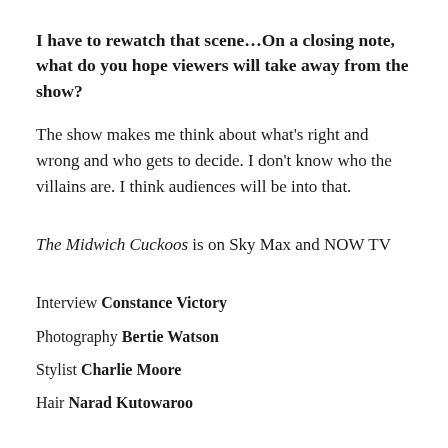I have to rewatch that scene…On a closing note, what do you hope viewers will take away from the show?
The show makes me think about what's right and wrong and who gets to decide. I don't know who the villains are. I think audiences will be into that.
The Midwich Cuckoos is on Sky Max and NOW TV
Interview Constance Victory
Photography Bertie Watson
Stylist Charlie Moore
Hair Narad Kutowaroo